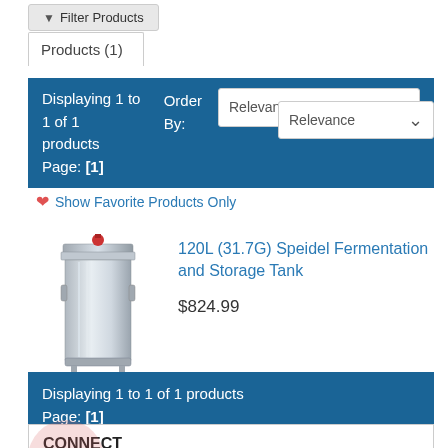Filter Products
Products (1)
Displaying 1 to 1 of 1 products
Page: [1]
Order By: Relevance
Show Favorite Products Only
[Figure (photo): Stainless steel fermentation and storage tank with red valve on top]
120L (31.7G) Speidel Fermentation and Storage Tank
$824.99
Displaying 1 to 1 of 1 products
Page: [1]
10% Off
CONNECT